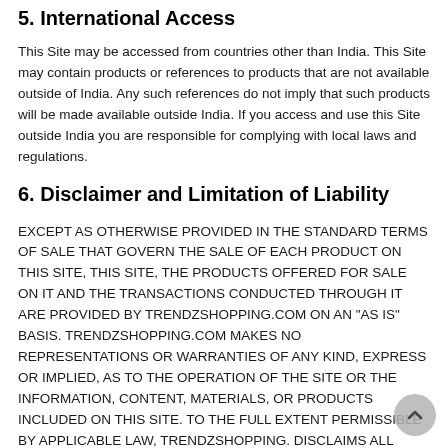5. International Access
This Site may be accessed from countries other than India. This Site may contain products or references to products that are not available outside of India. Any such references do not imply that such products will be made available outside India. If you access and use this Site outside India you are responsible for complying with local laws and regulations.
6. Disclaimer and Limitation of Liability
EXCEPT AS OTHERWISE PROVIDED IN THE STANDARD TERMS OF SALE THAT GOVERN THE SALE OF EACH PRODUCT ON THIS SITE, THIS SITE, THE PRODUCTS OFFERED FOR SALE ON IT AND THE TRANSACTIONS CONDUCTED THROUGH IT ARE PROVIDED BY TRENDZSHOPPING.COM ON AN "AS IS" BASIS. TRENDZSHOPPING.COM MAKES NO REPRESENTATIONS OR WARRANTIES OF ANY KIND, EXPRESS OR IMPLIED, AS TO THE OPERATION OF THE SITE OR THE INFORMATION, CONTENT, MATERIALS, OR PRODUCTS INCLUDED ON THIS SITE. TO THE FULL EXTENT PERMISSIBLE BY APPLICABLE LAW, TRENDZSHOPPING. DISCLAIMS ALL WARRANTIES, EXPRESS OR IMPLIED, INCLUDING